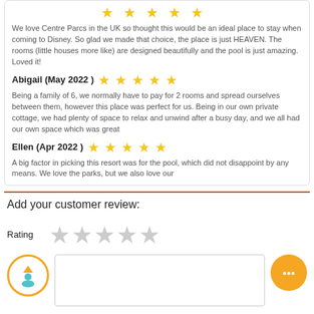We love Centre Parcs in the UK so thought this would be an ideal place to stay when coming to Disney. So glad we made that choice, the place is just HEAVEN. The rooms (little houses more like) are designed beautifully and the pool is just amazing. Loved it!
Abigail (May 2022 ) ★★★★★
Being a family of 6, we normally have to pay for 2 rooms and spread ourselves between them, however this place was perfect for us. Being in our own private cottage, we had plenty of space to relax and unwind after a busy day, and we all had our own space which was great
Ellen (Apr 2022 ) ★★★★★
A big factor in picking this resort was for the pool, which did not disappoint by any means. We love the parks, but we also love our
Add your customer review:
Rating
[Figure (other): User avatar circle with orange border and arrow up icon, review text input box, orange chat button]